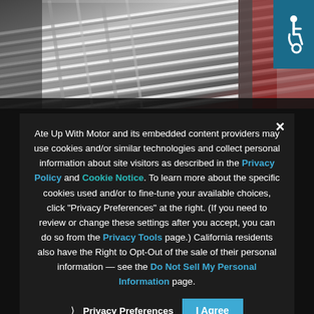[Figure (photo): Close-up photograph of chrome car grille with red bodywork visible at right edge. Accessibility wheelchair icon in top-right corner on teal background.]
Ate Up With Motor and its embedded content providers may use cookies and/or similar technologies and collect personal information about site visitors as described in the Privacy Policy and Cookie Notice. To learn more about the specific cookies used and/or to fine-tune your available choices, click "Privacy Preferences" at the right. (If you need to review or change these settings after you accept, you can do so from the Privacy Tools page.) California residents also have the Right to Opt-Out of the sale of their personal information — see the Do Not Sell My Personal Information page.
❯ Privacy Preferences   I Agree
MERCURY RISING
Today, with car companies selling or shuttering divisions as fast as state franchise laws will permit, it's become fashionable to criticize the auto industry — particularly General Motors — for its brands. For decades,